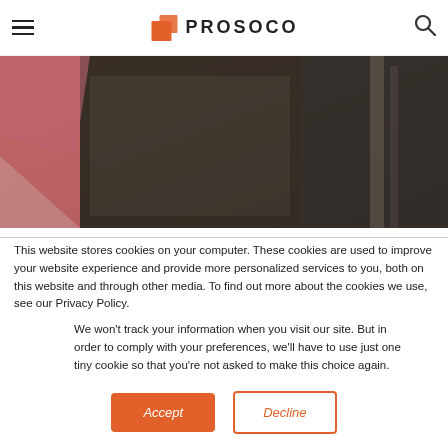PROSOCO
[Figure (photo): Dark interior space with pink/red angled element on the left side, concrete-like surfaces and metal structures visible]
This website stores cookies on your computer. These cookies are used to improve your website experience and provide more personalized services to you, both on this website and through other media. To find out more about the cookies we use, see our Privacy Policy.
We won't track your information when you visit our site. But in order to comply with your preferences, we'll have to use just one tiny cookie so that you're not asked to make this choice again.
Accept  Decline